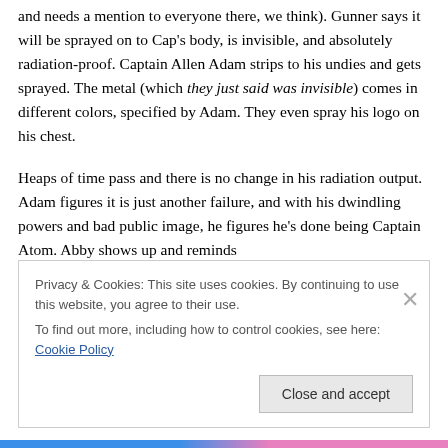and needs a mention to everyone there, we think). Gunner says it will be sprayed on to Cap's body, is invisible, and absolutely radiation-proof.  Captain Allen Adam strips to his undies and gets sprayed.  The metal (which they just said was invisible) comes in different colors, specified by Adam.  They even spray his logo on his chest.
Heaps of time pass and there is no change in his radiation output.  Adam figures it is just another failure, and with his dwindling powers and bad public image, he figures he's done being Captain Atom.  Abby shows up and reminds
Privacy & Cookies: This site uses cookies. By continuing to use this website, you agree to their use.
To find out more, including how to control cookies, see here: Cookie Policy